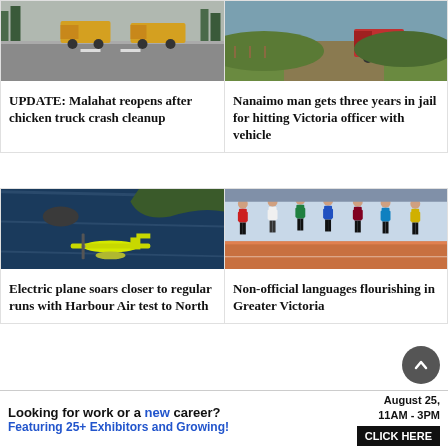[Figure (photo): Road with trucks - Malahat highway scene]
UPDATE: Malahat reopens after chicken truck crash cleanup
[Figure (photo): Rural landscape with vehicle - Nanaimo officer incident]
Nanaimo man gets three years in jail for hitting Victoria officer with vehicle
[Figure (photo): Aerial view of yellow electric seaplane over water near coastline]
Electric plane soars closer to regular runs with Harbour Air test to North
[Figure (photo): Young male runners sprinting on a track at the start of a race]
Non-official languages flourishing in Greater Victoria
Looking for work or a new career? August 25, 11AM - 3PM Featuring 25+ Exhibitors and Growing! CLICK HERE